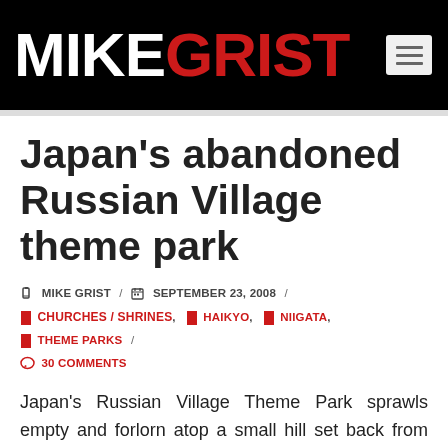MIKE GRIST
Japan's abandoned Russian Village theme park
MIKE GRIST / SEPTEMBER 23, 2008 / CHURCHES / SHRINES, HAIKYO, NIIGATA, THEME PARKS / 30 COMMENTS
Japan's Russian Village Theme Park sprawls empty and forlorn atop a small hill set back from the main road, shrouded by a thick raft of cedar